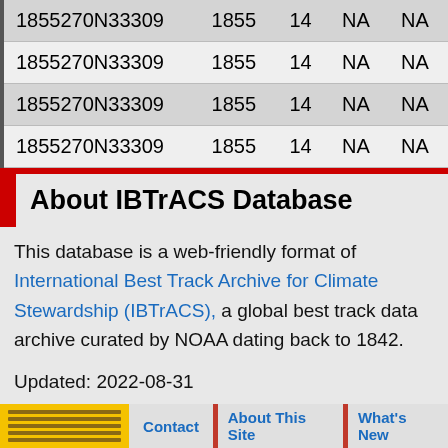| SID | SEASON | NUMBER | BASIN | SUBBASIN |
| --- | --- | --- | --- | --- |
| 1855270N33309 | 1855 | 14 | NA | NA |
| 1855270N33309 | 1855 | 14 | NA | NA |
| 1855270N33309 | 1855 | 14 | NA | NA |
| 1855270N33309 | 1855 | 14 | NA | NA |
About IBTrACS Database
This database is a web-friendly format of International Best Track Archive for Climate Stewardship (IBTrACS), a global best track data archive curated by NOAA dating back to 1842.
Updated: 2022-08-31
Contact | About This Site | What's New